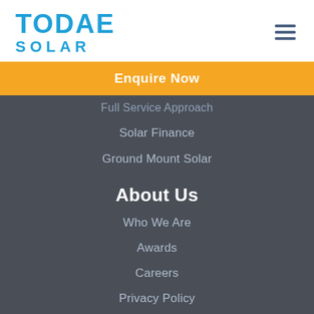[Figure (logo): Todae Solar logo with blue bold text]
Enquire Now
Full Service Approach
Solar Finance
Ground Mount Solar
About Us
Who We Are
Awards
Careers
Privacy Policy
Payment
Customer Care
HSEQ